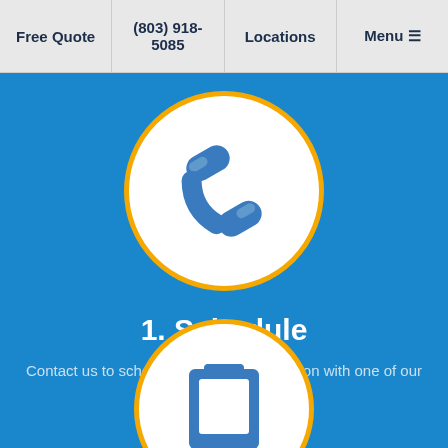Free Quote | (803) 918-5085 | Locations | Menu
[Figure (illustration): Phone handset icon inside a white circle with orange border, on blue background]
1. Schedule
Contact us to schedule a FREE consultation with one of our accessibility experts.
[Figure (illustration): Partially visible icon inside a white circle with orange border, on blue background — bottom portion cut off]